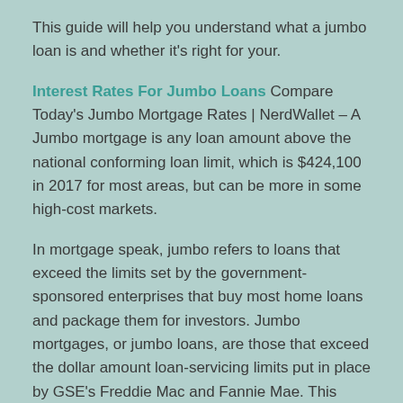This guide will help you understand what a jumbo loan is and whether it's right for your.
Interest Rates For Jumbo Loans Compare Today's Jumbo Mortgage Rates | NerdWallet – A Jumbo mortgage is any loan amount above the national conforming loan limit, which is $424,100 in 2017 for most areas, but can be more in some high-cost markets.
In mortgage speak, jumbo refers to loans that exceed the limits set by the government-sponsored enterprises that buy most home loans and package them for investors. Jumbo mortgages, or jumbo loans, are those that exceed the dollar amount loan-servicing limits put in place by GSE's Freddie Mac and Fannie Mae. This makes them non-conforming loans.